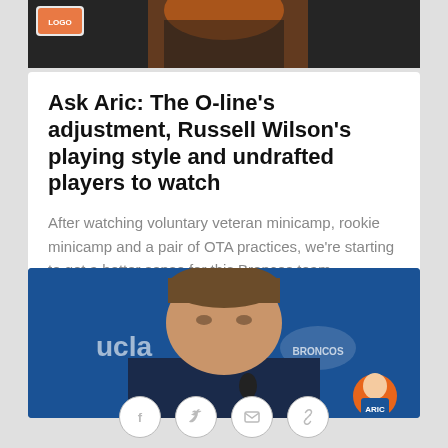[Figure (photo): Partial photo of a football player in orange and black uniform, with a small logo overlay in top left corner]
Ask Aric: The O-line's adjustment, Russell Wilson's playing style and undrafted players to watch
After watching voluntary veteran minicamp, rookie minicamp and a pair of OTA practices, we're starting to get a better sense for this Broncos team.
[Figure (photo): Man at press conference in front of blue background with UCLA and Denver Broncos logo. Small cartoon mascot icon in bottom right.]
[Figure (infographic): Social sharing icons: Facebook, Twitter, Email, Link]